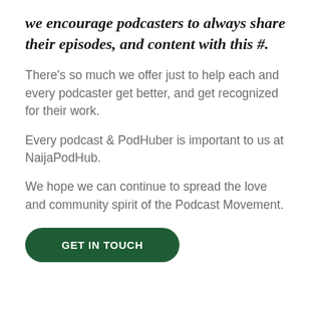we encourage podcasters to always share their episodes, and content with this #.
There’s so much we offer just to help each and every podcaster get better, and get recognized for their work.
Every podcast & PodHuber is important to us at NaijaPodHub.
We hope we can continue to spread the love and community spirit of the Podcast Movement.
GET IN TOUCH